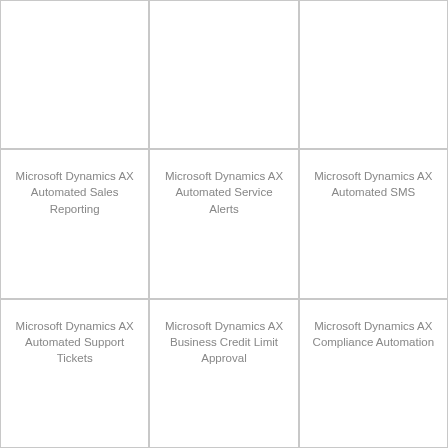[Figure (other): Empty cell top-left]
[Figure (other): Empty cell top-center]
[Figure (other): Empty cell top-right]
Microsoft Dynamics AX Automated Sales Reporting
Microsoft Dynamics AX Automated Service Alerts
Microsoft Dynamics AX Automated SMS
Microsoft Dynamics AX Automated Support Tickets
Microsoft Dynamics AX Business Credit Limit Approval
Microsoft Dynamics AX Compliance Automation